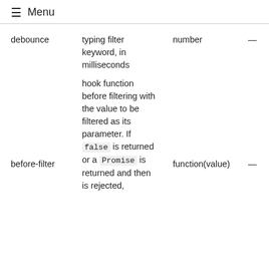≡ Menu
| Name | Description | Type | Default |
| --- | --- | --- | --- |
| debounce | typing filter keyword, in milliseconds | number | — |
| before-filter | hook function before filtering with the value to be filtered as its parameter. If false is returned or a Promise is returned and then is rejected, | function(value) | — |